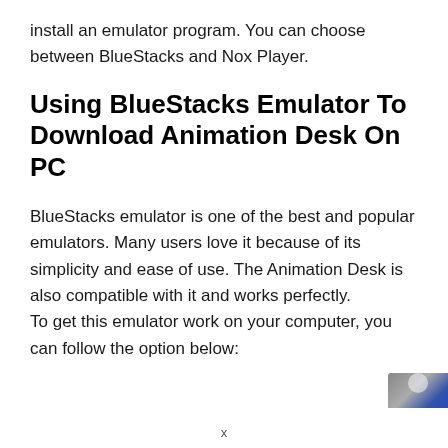install an emulator program. You can choose between BlueStacks and Nox Player.
Using BlueStacks Emulator To Download Animation Desk On PC
BlueStacks emulator is one of the best and popular emulators. Many users love it because of its simplicity and ease of use. The Animation Desk is also compatible with it and works perfectly. To get this emulator work on your computer, you can follow the option below:
[Figure (photo): Partial image visible in bottom-right corner, appears to show a blue and grey scene]